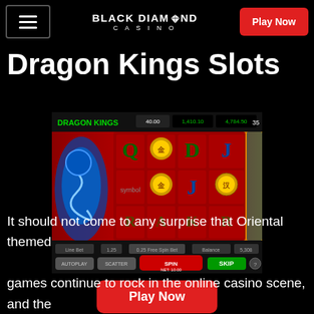BLACK DIAMOND CASINO — Play Now
Dragon Kings Slots
[Figure (screenshot): Dragon Kings slot machine game screenshot showing a red-themed 5-reel slot interface with Oriental symbols, coins, and dragon imagery. Header shows 'DRAGON KINGS' branding with balance displays. Bottom shows game controls including a green SKIP button.]
Play Now
It should not come to any surprise that Oriental themed games continue to rock in the online casino scene, and the